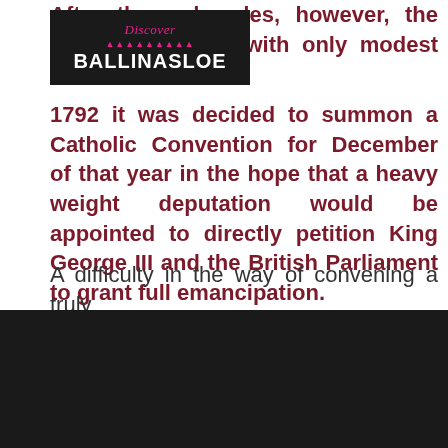[Figure (logo): Discover Ballinasloe logo — dark background with pink/magenta text showing 'Discover' in italic script, a skyline silhouette, and 'BALLINASLOE' in bold white capitals]
After three decades, however, the Committee's met with only modest success, and in 1792 it was decided to summon a Catholic Convention for December of that year in the hope that a heavy weight deputation would be appointed to directly petition King George III and the British Parliament to grant full emancipation.
A difficulty in the way of convening a truly
We use cookies
We use cookies and other tracking technologies to improve your browsing experience on our website, to show you personalized content and targeted ads, to analyze our website traffic, and